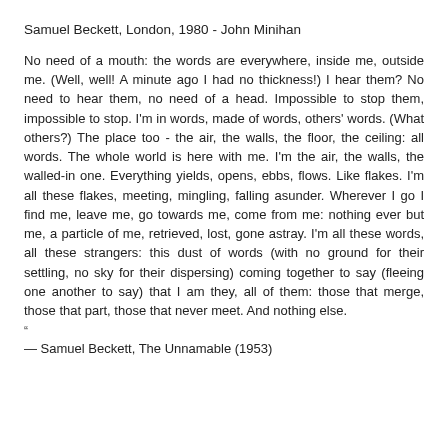Samuel Beckett, London, 1980 - John Minihan
No need of a mouth: the words are everywhere, inside me, outside me. (Well, well! A minute ago I had no thickness!) I hear them? No need to hear them, no need of a head. Impossible to stop them, impossible to stop. I'm in words, made of words, others' words. (What others?) The place too - the air, the walls, the floor, the ceiling: all words. The whole world is here with me. I'm the air, the walls, the walled-in one. Everything yields, opens, ebbs, flows. Like flakes. I'm all these flakes, meeting, mingling, falling asunder. Wherever I go I find me, leave me, go towards me, come from me: nothing ever but me, a particle of me, retrieved, lost, gone astray. I'm all these words, all these strangers: this dust of words (with no ground for their settling, no sky for their dispersing) coming together to say (fleeing one another to say) that I am they, all of them: those that merge, those that part, those that never meet. And nothing else.
“
— Samuel Beckett, The Unnamable (1953)